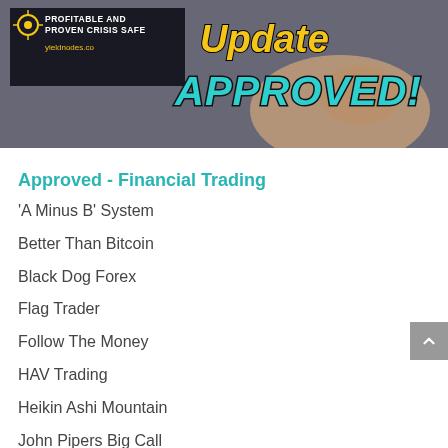[Figure (illustration): Banner image for YieldNodes showing 'Update APPROVED!' text in teal and yellow over a dark background with a hand pressing a button. Left side has a dark box with 'PROFITABLE AND PROVEN CRISIS SAFE' and 'yieldnodes.co' in yellow text.]
Approved - Financial Trading
'A Minus B' System
Better Than Bitcoin
Black Dog Forex
Flag Trader
Follow The Money
HAV Trading
Heikin Ashi Mountain
John Pipers Big Call